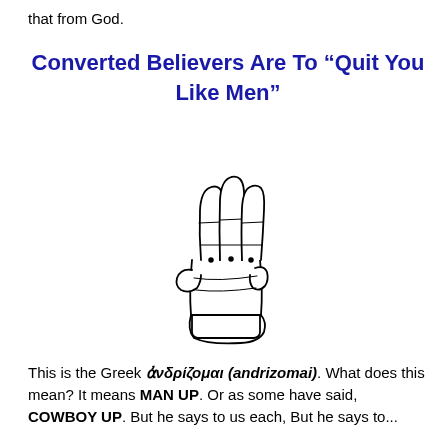that from God.
Converted Believers Are To “Quit You Like Men”
[Figure (illustration): Line drawing of a hand making a gesture with three fingers extended upward (index, middle, and ring fingers), thumb and pinky folded in, viewed from the front.]
This is the Greek ἀνδρίζομαι (andrizomai). What does this mean? It means MAN UP. Or as some have said, COWBOY UP. But he says to us each, But he says to...